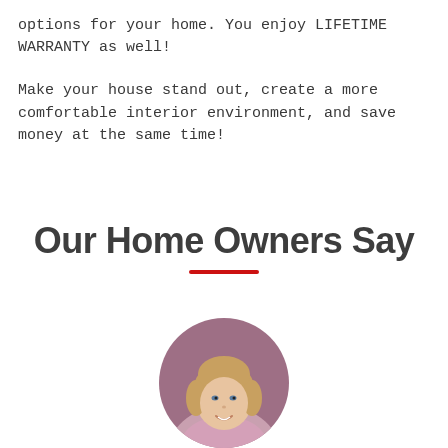options for your home. You enjoy LIFETIME WARRANTY as well!
Make your house stand out, create a more comfortable interior environment, and save money at the same time!
Our Home Owners Say
[Figure (photo): Circular portrait photo of a smiling blonde woman with a mauve/purple circular background border]